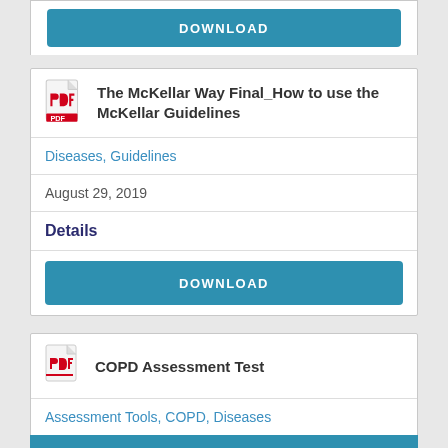[Figure (screenshot): Top partial card with DOWNLOAD button visible at top of page]
The McKellar Way Final_How to use the McKellar Guidelines
Diseases, Guidelines
August 29, 2019
Details
DOWNLOAD
COPD Assessment Test
Assessment Tools, COPD, Diseases
September 3, 2019
Details
DOWNLOAD